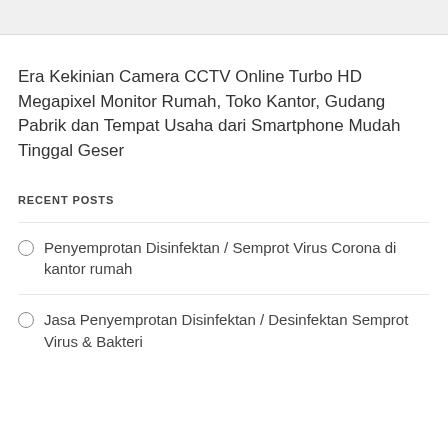Era Kekinian Camera CCTV Online Turbo HD Megapixel Monitor Rumah, Toko Kantor, Gudang Pabrik dan Tempat Usaha dari Smartphone Mudah Tinggal Geser
RECENT POSTS
Penyemprotan Disinfektan / Semprot Virus Corona di kantor rumah
Jasa Penyemprotan Disinfektan / Desinfektan Semprot Virus & Bakteri